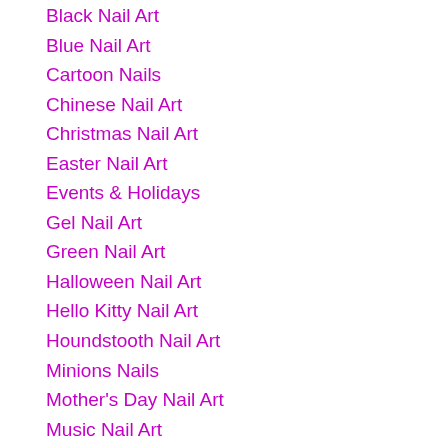Black Nail Art
Blue Nail Art
Cartoon Nails
Chinese Nail Art
Christmas Nail Art
Easter Nail Art
Events & Holidays
Gel Nail Art
Green Nail Art
Halloween Nail Art
Hello Kitty Nail Art
Houndstooth Nail Art
Minions Nails
Mother's Day Nail Art
Music Nail Art
Mustache Nail Art
Nail Art Designs
Nail Art Tutorial
Nail Designs
New Year Nail Art